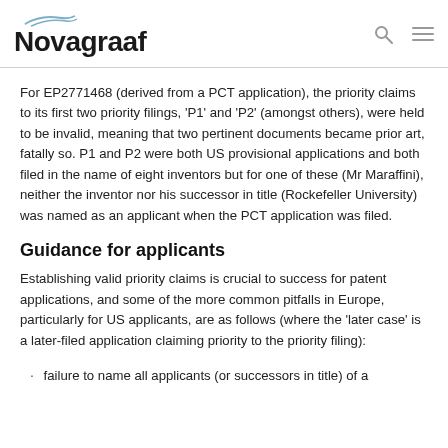Novagraaf
For EP2771468 (derived from a PCT application), the priority claims to its first two priority filings, 'P1' and 'P2' (amongst others), were held to be invalid, meaning that two pertinent documents became prior art, fatally so. P1 and P2 were both US provisional applications and both filed in the name of eight inventors but for one of these (Mr Maraffini), neither the inventor nor his successor in title (Rockefeller University) was named as an applicant when the PCT application was filed.
Guidance for applicants
Establishing valid priority claims is crucial to success for patent applications, and some of the more common pitfalls in Europe, particularly for US applicants, are as follows (where the 'later case' is a later-filed application claiming priority to the priority filing):
failure to name all applicants (or successors in title) of a